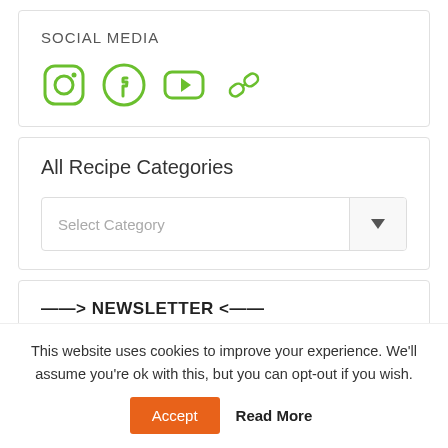SOCIAL MEDIA
[Figure (infographic): Four social media icons in green: Instagram, Facebook, YouTube, and a chain/link icon]
All Recipe Categories
Select Category
——> NEWSLETTER <——
This website uses cookies to improve your experience. We'll assume you're ok with this, but you can opt-out if you wish.
Accept   Read More